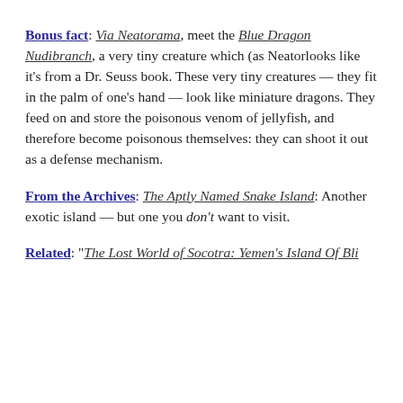Bonus fact: Via Neatorama, meet the Blue Dragon Nudibranch, a very tiny creature which (as Neatorlooks like it's from a Dr. Seuss book. These very tiny creatures — they fit in the palm of one's hand — look like miniature dragons. They feed on and store the poisonous venom of jellyfish, and therefore become poisonous themselves: they can shoot it out as a defense mechanism.
From the Archives: The Aptly Named Snake Island: Another exotic island — but one you don't want to visit.
Related: "The Lost World of Socotra: Yemen's Island Of Bli..." by Richard Pearson. First...